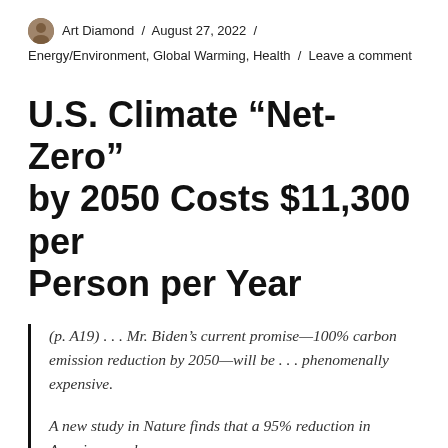Art Diamond / August 27, 2022 / Energy/Environment, Global Warming, Health / Leave a comment
U.S. Climate “Net-Zero” by 2050 Costs $11,300 per Person per Year
(p. A19) . . . Mr. Biden’s current promise—100% carbon emission reduction by 2050—will be . . . phenomenally expensive.
A new study in Nature finds that a 95% reduction in American carbon